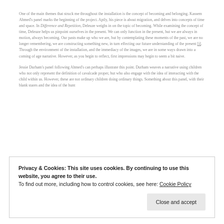One of the main themes that struck me throughout the installation is the concept of becoming and belonging. Kassem Ahmed's panel marks the beginning of the project. Aptly, his piece is about migration, and delves into concepts of time and space. In Difference and Repetition, Deleuze weighs in on the topic of becoming. While examining the concept of time, Deleuze helps us pinpoint ourselves in the present. We can only function in the present, but we are always in motion, always becoming. Our pasts make up who we are, but by contemplating these moments of the past, we are no longer remembering, we are constructing something new, in turn effecting our future understanding of the present [i]. Through the environment of the installation, and the immediacy of the images, we are in some ways drawn into a coming of age narrative. However, as you begin to reflect, first impressions may begin to seem a bit naive.
Jessie Durham's panel following Ahmed's can perhaps illustrate this point. Durham weaves a narrative using children who not only represent the definition of cavalcade proper, but who also engage with the idea of interacting with the child within us. However, these are not ordinary children doing ordinary things. Something about this panel, with their blank stares and the idea of the hunt
Privacy & Cookies: This site uses cookies. By continuing to use this website, you agree to their use.
To find out more, including how to control cookies, see here: Cookie Policy